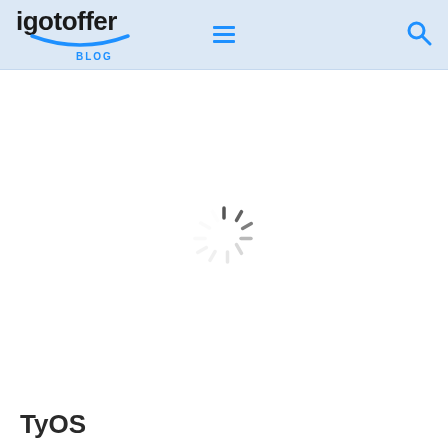igotoffer BLOG
[Figure (other): Loading spinner (animated circle of dashes) centered on a white background]
TyOS